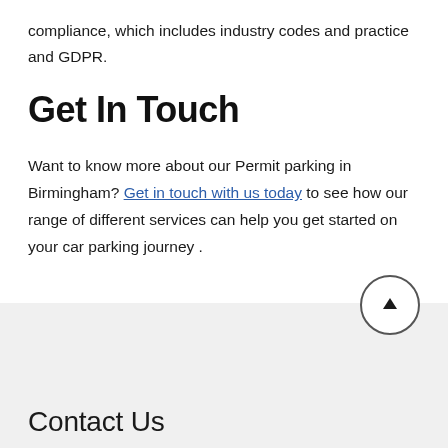compliance, which includes industry codes and practice and GDPR.
Get In Touch
Want to know more about our Permit parking in Birmingham? Get in touch with us today to see how our range of different services can help you get started on your car parking journey .
Contact Us